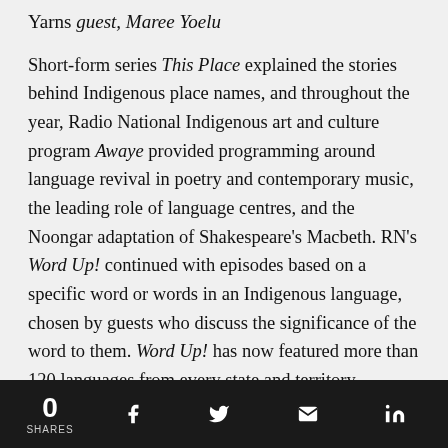Yarns guest, Maree Yoelu
Short-form series This Place explained the stories behind Indigenous place names, and throughout the year, Radio National Indigenous art and culture program Awaye provided programming around language revival in poetry and contemporary music, the leading role of language centres, and the Noongar adaptation of Shakespeare's Macbeth. RN's Word Up! continued with episodes based on a specific word or words in an Indigenous language, chosen by guests who discuss the significance of the word to them. Word Up! has now featured more than 120 languages from every state and territory.
Life Matters celebrated Indigenous linguistic diversity
0 SHARES